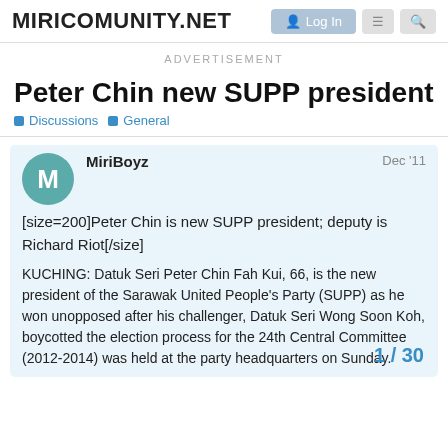MiriComunity.NET
ADVERTISEMENT
Peter Chin new SUPP president
Discussions  General
MiriBoyz  Dec '11
[size=200]Peter Chin is new SUPP president; deputy is Richard Riot[/size]

KUCHING: Datuk Seri Peter Chin Fah Kui, 66, is the new president of the Sarawak United People's Party (SUPP) as he won unopposed after his challenger, Datuk Seri Wong Soon Koh, boycotted the election process for the 24th Central Committee (2012-2014) was held at the party headquarters on Sunday.
1 / 30